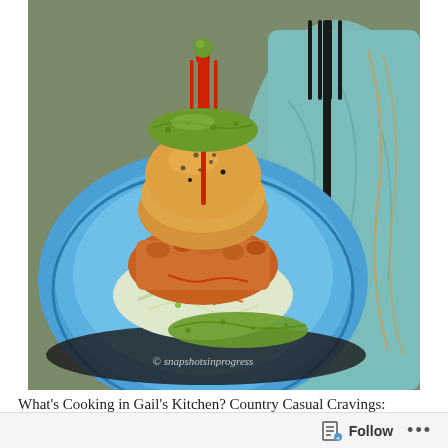[Figure (photo): Food photo showing a gherkin pork slider stacked on a blue plate with coleslaw and pickle garnishes. A small red pitchfork skewer holds a pickle on top of the bun. Black fork and teal cloth napkin visible in background. Watermark reads © snapshotsinprogress.]
What's Cooking in Gail's Kitchen? Country Casual Cravings: Gherkin Pork Sliders! Mini sandwiches are popping up on
Follow ...